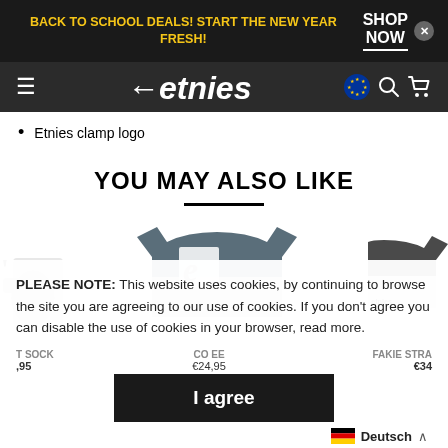BACK TO SCHOOL DEALS! START THE NEW YEAR FRESH! | SHOP NOW
[Figure (logo): Etnies brand logo with backward arrow and italic text on dark navigation bar]
Etnies clamp logo
YOU MAY ALSO LIKE
[Figure (photo): Product images row showing partial left item, center gray t-shirt with large Etnies logo, and partial right item]
PLEASE NOTE: This website uses cookies, by continuing to browse the site you are agreeing to our use of cookies. If you don't agree you can disable the use of cookies in your browser, read more.
I agree
T SOCK
,95
CO EE
€24,95
FAKIE STRA
€34
Deutsch